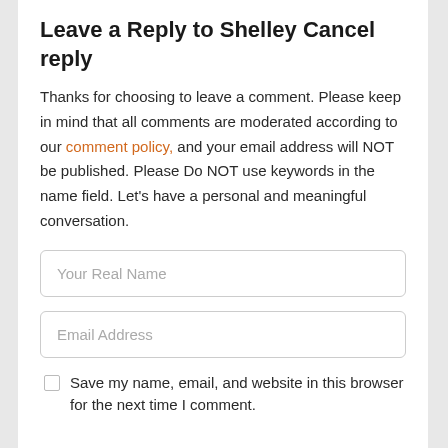Leave a Reply to Shelley Cancel reply
Thanks for choosing to leave a comment. Please keep in mind that all comments are moderated according to our comment policy, and your email address will NOT be published. Please Do NOT use keywords in the name field. Let's have a personal and meaningful conversation.
Your Real Name
Email Address
Save my name, email, and website in this browser for the next time I comment.